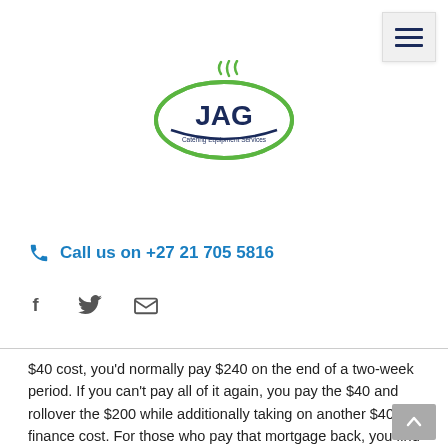[Figure (logo): JAG Catering Equipment Services logo — green oval with 'JAG' text in dark blue and a steam/grass graphic above]
Call us on +27 21 705 5816
[Figure (infographic): Social media icons: Facebook (f), Twitter (bird), Email (envelope)]
$40 cost, you'd normally pay $240 on the end of a two-week period. If you can't pay all of it again, you pay the $40 and rollover the $200 while additionally taking on another $40 finance cost. For those who pay that mortgage back, you find yourself paying a total of $280.
If you end up in a scenario the place you're contemplating a payday mortgage, explore alternatives first. If in case you